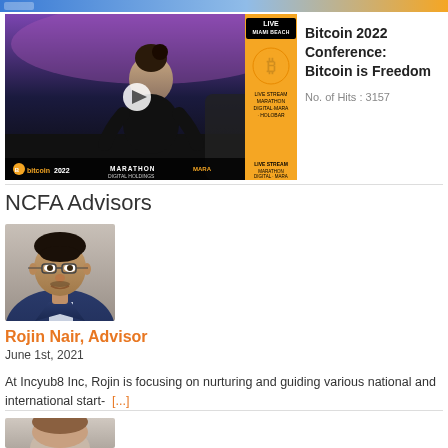[Figure (screenshot): Top banner strip with gradient colors (blue to orange)]
[Figure (screenshot): Video thumbnail of Bitcoin 2022 Conference with a woman speaking on stage, LIVE MIAMI BEACH badge, orange Bitcoin logo panel, bitcoin2022 and MARATHON MARA branding at bottom]
Bitcoin 2022 Conference: Bitcoin is Freedom
No. of Hits : 3157
NCFA Advisors
[Figure (photo): Headshot photo of Rojin Nair, a man wearing glasses and a blue suit]
Rojin Nair, Advisor
June 1st, 2021
At Incyub8 Inc, Rojin is focusing on nurturing and guiding various national and international start-  [...]
[Figure (photo): Partial headshot of a second advisor, cropped at bottom of page]